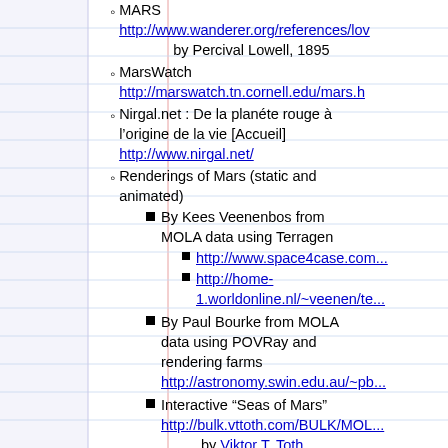MARS http://www.wanderer.org/references/lo... by Percival Lowell, 1895
MarsWatch http://marswatch.tn.cornell.edu/mars.h...
Nirgal.net : De la planéte rouge à l'origine de la vie [Accueil] http://www.nirgal.net/
Renderings of Mars (static and animated)
By Kees Veenenbos from MOLA data using Terragen
http://www.space4case.com...
http://home-1.worldonline.nl/~veenen/te...
By Paul Bourke from MOLA data using POVRay and rendering farms http://astronomy.swin.edu.au/~pb...
Interactive "Seas of Mars" http://bulk.vttoth.com/BULK/MOL... by Viktor T. Toth
[back to Contents]